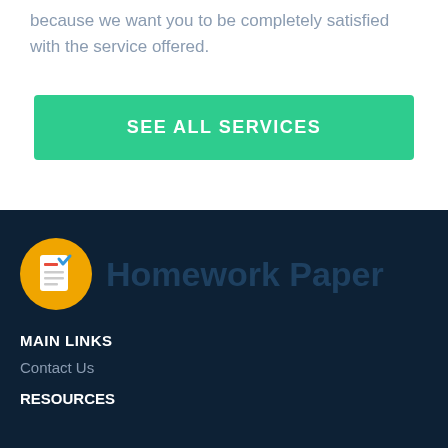because we want you to be completely satisfied with the service offered.
[Figure (other): Green button with text SEE ALL SERVICES]
[Figure (logo): Homework Paper logo: orange circle with document icon and text Homework Paper]
MAIN LINKS
Contact Us
RESOURCES